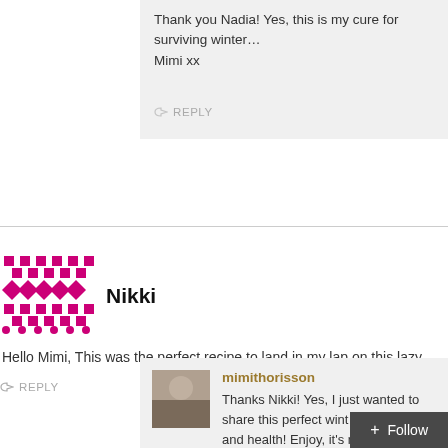Thank you Nadia! Yes, this is my cure for surviving winter… Mimi xx
REPLY
Nikki
Hello Mimi, This was the perfect recipe to land in my lap on this lazy…
REPLY
mimithorisson
Thanks Nikki! Yes, I just wanted to share this perfect wint… vitamins and health! Enjoy, it's my favourite soup. Mimi x
REPLY
Follow